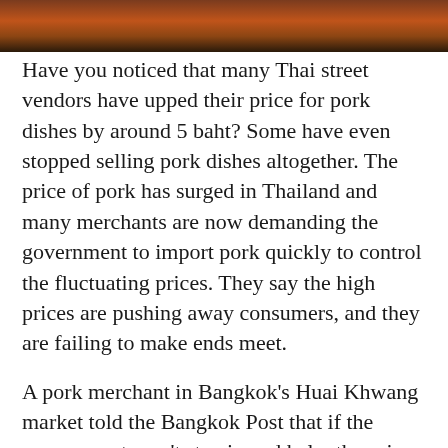[Figure (photo): A decorative photo strip at the top of the page showing Thai food or market scene with warm red-brown tones.]
Have you noticed that many Thai street vendors have upped their price for pork dishes by around 5 baht? Some have even stopped selling pork dishes altogether. The price of pork has surged in Thailand and many merchants are now demanding the government to import pork quickly to control the fluctuating prices. They say the high prices are pushing away consumers, and they are failing to make ends meet.
A pork merchant in Bangkok’s Huai Khwang market told the Bangkok Post that if the government won’t step in and help, the price of pork will be sold at 300 baht per kilogram. At this rate, it’s too expensive for a lot of customers to buy.